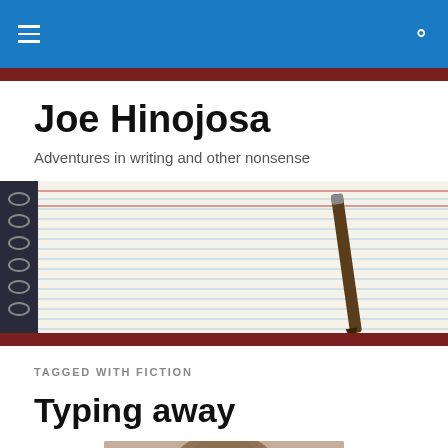Joe Hinojosa — navigation bar with hamburger menu and search icon
Joe Hinojosa
Adventures in writing and other nonsense
[Figure (photo): Close-up photo of a spiral-bound notebook with ruled lines and a pen resting on it]
TAGGED WITH FICTION
Typing away
[Figure (photo): Partial photo of a person at a typewriter or similar, shown from below the header area]